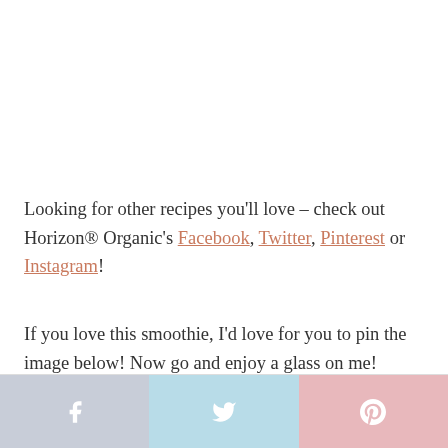Looking for other recipes you'll love – check out Horizon® Organic's Facebook, Twitter, Pinterest or Instagram!
If you love this smoothie, I'd love for you to pin the image below! Now go and enjoy a glass on me!